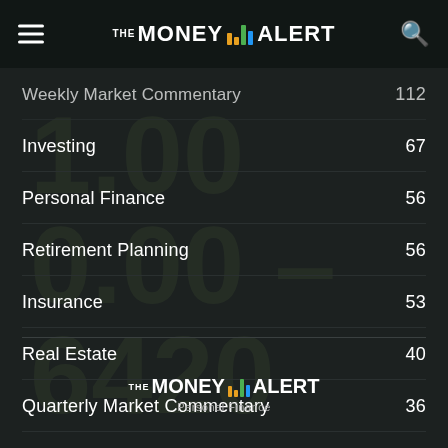THE MONEY ALERT
Weekly Market Commentary ... 112
Investing 67
Personal Finance 56
Retirement Planning 56
Insurance 53
Real Estate 40
Quarterly Market Commentary 36
Estate Planning 31
Mortgage 30
THE MONEY ALERT | Personal Finance